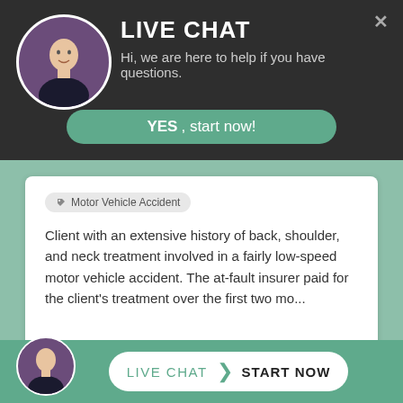LIVE CHAT
Hi, we are here to help if you have questions.
YES, start now!
Motor Vehicle Accident
Client with an extensive history of back, shoulder, and neck treatment involved in a fairly low-speed motor vehicle accident. The at-fault insurer paid for the client's treatment over the first two mo...
$150,000
LIVE CHAT  ❯  START NOW